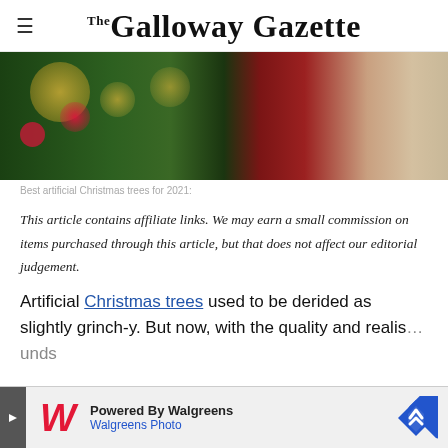The Galloway Gazette
[Figure (photo): Christmas tree with golden and red ornaments, candy canes, and a person in a red dress standing beside it, with a sofa in the background]
Best artificial Christmas trees for 2021:
This article contains affiliate links. We may earn a small commission on items purchased through this article, but that does not affect our editorial judgement.
Artificial Christmas trees used to be derided as slightly grinch-y. But now, with the quality and realis... ounds
[Figure (other): Walgreens Photo advertisement banner: Powered By Walgreens, Walgreens Photo]